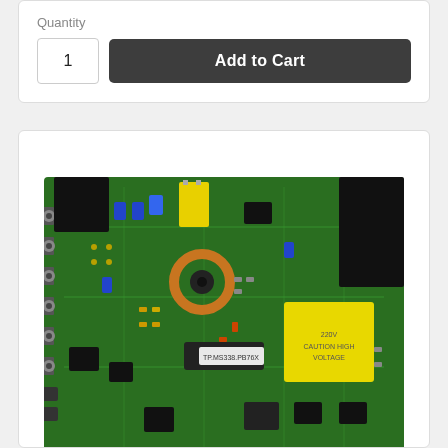Quantity
1
Add to Cart
[Figure (photo): A green circuit board / motherboard (TV main board) photographed from above, showing electronic components including capacitors, inductors, connectors, chips, and a yellow transformer block.]